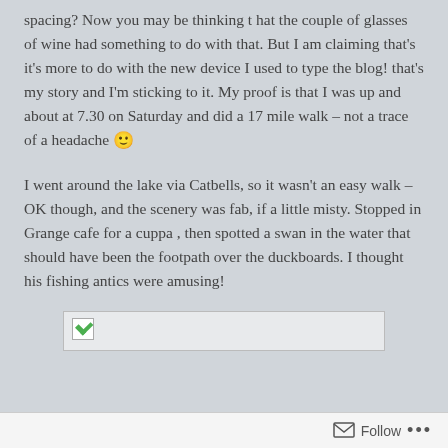spacing? Now you may be thinking that the couple of glasses of wine had something to do with that. But I am claiming that's it's more to do with the new device I used to type the blog! that's my story and I'm sticking to it. My proof is that I was up and about at 7.30 on Saturday and did a 17 mile walk – not a trace of a headache 🙂
I went around the lake via Catbells, so it wasn't an easy walk – OK though, and the scenery was fab, if a little misty. Stopped in Grange cafe for a cuppa , then spotted a swan in the water that should have been the footpath over the duckboards. I thought his fishing antics were amusing!
[Figure (photo): Broken/loading image placeholder — a small image icon with green arrow in top-left corner of a light grey rectangle]
Follow ...